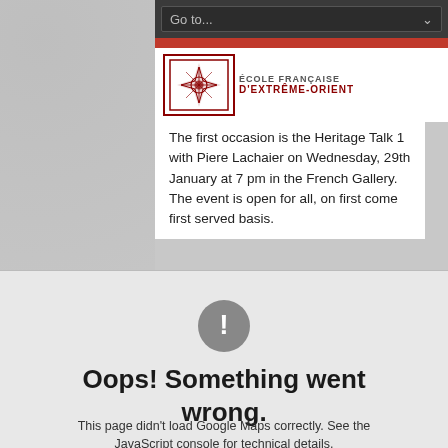[Figure (screenshot): Go to... dropdown navigation bar, dark grey background with dropdown select element]
[Figure (logo): École Française d'Extrême-Orient logo with red ornamental emblem and institution name in red text]
The first occasion is the Heritage Talk 1 with Piere Lachaier on Wednesday, 29th January at 7 pm in the French Gallery. The event is open for all, on first come first served basis.
Oops! Something went wrong.
This page didn't load Google Maps correctly. See the JavaScript console for technical details.